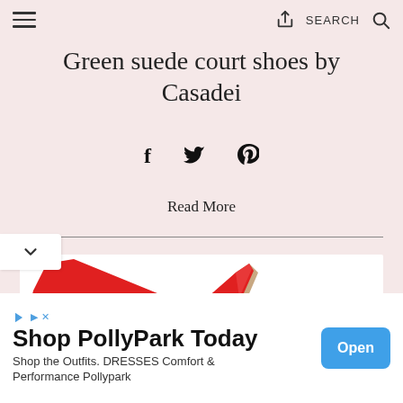≡  [share icon]  SEARCH  🔍
Green suede court shoes by Casadei
f  𝕏  𝕡
Read More
[Figure (photo): Partial photo of a red high-heel court shoe against a white background]
Shop PollyPark Today
Shop the Outfits. DRESSES Comfort & Performance Pollypark
[Open button]